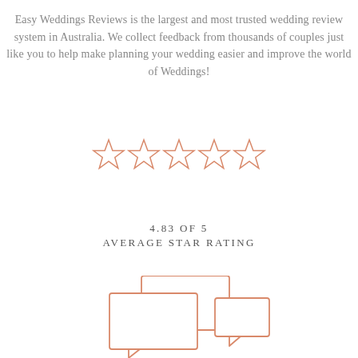Easy Weddings Reviews is the largest and most trusted wedding review system in Australia. We collect feedback from thousands of couples just like you to help make planning your wedding easier and improve the world of Weddings!
[Figure (infographic): Five outlined star icons in a salmon/rose color representing a 5-star rating display]
4.83 OF 5
AVERAGE STAR RATING
[Figure (illustration): Three overlapping speech/chat bubble outlines in salmon/rose color]